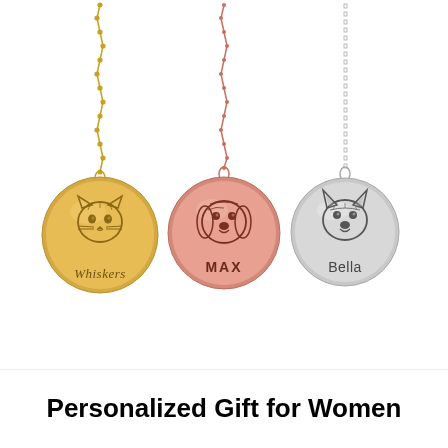[Figure (photo): Three personalized pet portrait necklaces on chains: left is gold-colored with a cat engraving and 'Whiskers' text, middle is rose gold with a dog (beagle) engraving and 'MAX' text, right is silver with a corgi dog engraving and 'Bella' text, all on a white background.]
Personalized Gift for Women